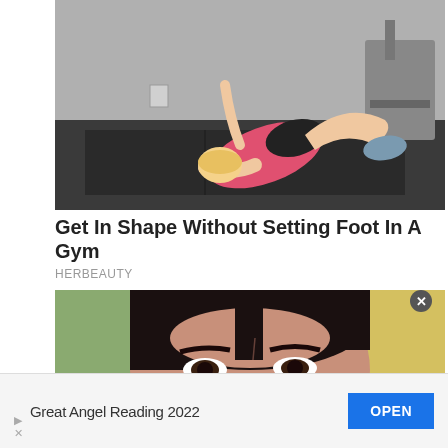[Figure (photo): Woman doing glute bridge exercise on a gym mat, wearing pink top and black shorts, one arm raised, in a home gym with exercise equipment visible in background]
Get In Shape Without Setting Foot In A Gym
HERBEAUTY
[Figure (photo): Close-up portrait of an Asian woman's face with dark hair and dark eyes, appearing to look upward, with blurred green and yellow background]
Great Angel Reading 2022
OPEN